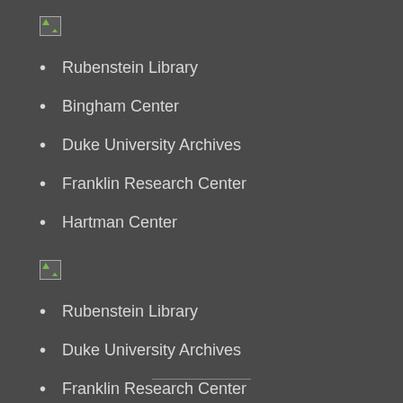[Figure (other): Broken image icon (image failed to load)]
Rubenstein Library
Bingham Center
Duke University Archives
Franklin Research Center
Hartman Center
[Figure (other): Broken image icon (image failed to load)]
Rubenstein Library
Duke University Archives
Franklin Research Center